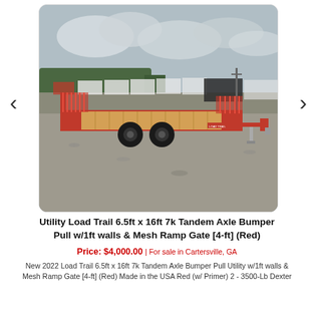[Figure (photo): Red utility trailer with mesh ramp gate and wood deck floor, parked in a gravel lot. Tandem axle bumper pull trailer, 6.5ft x 16ft, painted red with black wheels. Background shows storage units and trees under cloudy sky.]
Utility Load Trail 6.5ft x 16ft 7k Tandem Axle Bumper Pull w/1ft walls & Mesh Ramp Gate [4-ft] (Red)
Price: $4,000.00 | For sale in Cartersville, GA
New 2022 Load Trail 6.5ft x 16ft 7k Tandem Axle Bumper Pull Utility w/1ft walls & Mesh Ramp Gate [4-ft] (Red) Made in the USA Red (w/ Primer) 2 - 3500-Lb Dexter